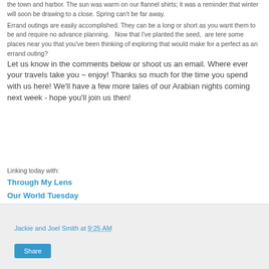the town and harbor. The sun was warm on our flannel shirts; it was a reminder that winter will soon be drawing to a close. Spring can't be far away.
Errand outings are easily accomplished. They can be a long or short as you want them to be and require no advance planning.   Now that I've planted the seed,  are tere some places near you that you've been thinking of exploring that would make for a perfect as an errand outing? Let us know in the comments below or shoot us an email.  Where ever your travels take you ~ enjoy! Thanks so much for the time you spend with us here!  We'll have a few more tales of our Arabian nights coming next week - hope you'll join us then!
Linking today with:
Through My Lens
Our World Tuesday
Wordless Wednesday
Jackie and Joel Smith at 9:25 AM
Share